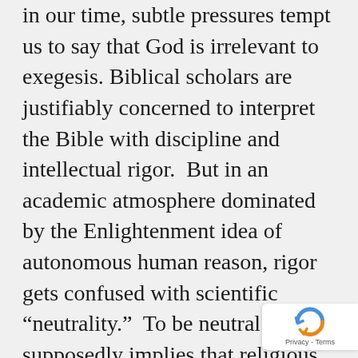in our time, subtle pressures tempt us to say that God is irrelevant to exegesis. Biblical scholars are justifiably concerned to interpret the Bible with discipline and intellectual rigor.  But in an academic atmosphere dominated by the Enlightenment idea of autonomous human reason, rigor gets confused with scientific “neutrality.”  To be neutral supposedly implies that religious viewpoints are set aside.  Scholars therefore aspire to conduct the central steps of biblical exegesis in a manner independent of their relationship to God.  For example, early proponents of the historical-critical method wanted